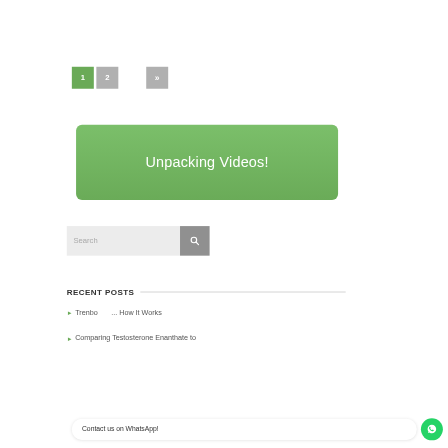1 2 »
[Figure (screenshot): Unpacking Videos! green button]
[Figure (screenshot): Search input field with magnifying glass icon]
RECENT POSTS
Trenbo... How It Works
Comparing Testosterone Enanthate to
Contact us on WhatsApp!